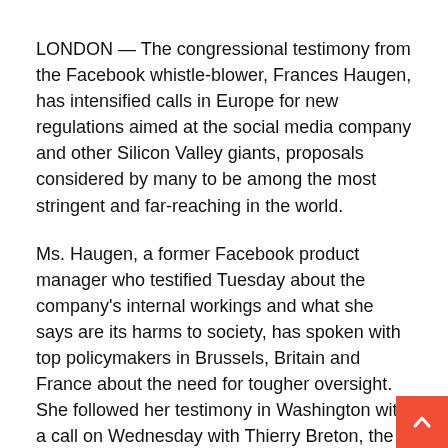LONDON — The congressional testimony from the Facebook whistle-blower, Frances Haugen, has intensified calls in Europe for new regulations aimed at the social media company and other Silicon Valley giants, proposals considered by many to be among the most stringent and far-reaching in the world.
Ms. Haugen, a former Facebook product manager who testified Tuesday about the company's internal workings and what she says are its harms to society, has spoken with top policymakers in Brussels, Britain and France about the need for tougher oversight. She followed her testimony in Washington with a call on Wednesday with Thierry Breton, the European commissioner in Brussels who is playing a leading role in drafting European Union legislation meant to curtail the power of the tech companies.